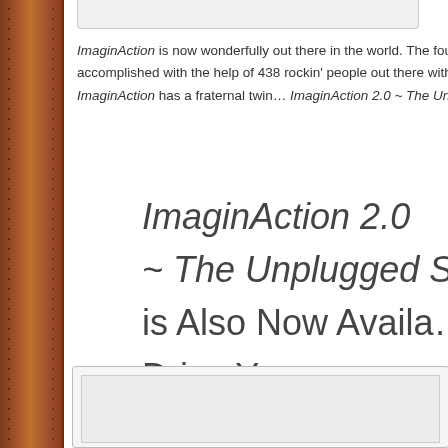[Figure (other): Top image area - partial image at top of page]
ImaginAction is now wonderfully out there in the world. The foundation accomplished with the help of 438 rockin' people out there with the … ImaginAction has a fraternal twin… ImaginAction 2.0 ~ The Unplugg…
ImaginAction 2.0 ~ The Unplugged Sessions is Also Now Available Drive Your Inner Solar System With Mindfulness
[Figure (other): Bottom image placeholder area]